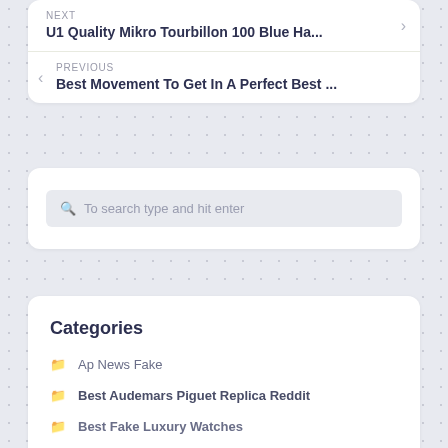NEXT
U1 Quality Mikro Tourbillon 100 Blue Ha...
PREVIOUS
Best Movement To Get In A Perfect Best ...
To search type and hit enter
Categories
Ap News Fake
Best Audemars Piguet Replica Reddit
Best Fake Luxury Watches